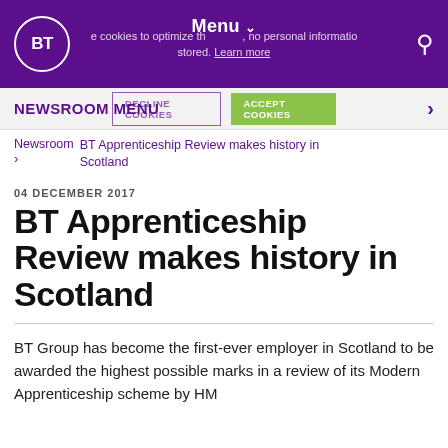Menu — BT Newsroom website header with BT logo, Menu dropdown, and search icon. Cookie notice: we use cookies to optimize the site, no personal information stored. Learn more.
NEWSROOM MENU
DECLINE COOKIES   ACCEPT COOKIES
Newsroom > BT Apprenticeship Review makes history in Scotland
04 DECEMBER 2017
BT Apprenticeship Review makes history in Scotland
BT Group has become the first-ever employer in Scotland to be awarded the highest possible marks in a review of its Modern Apprenticeship scheme by HM